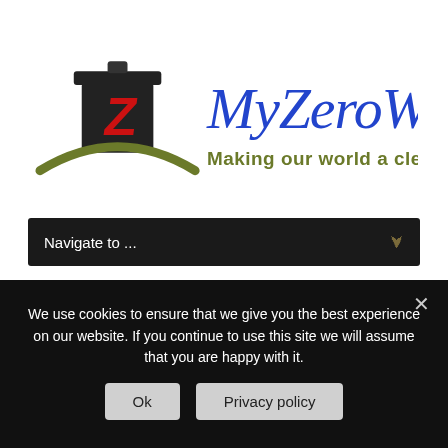[Figure (logo): MyZeroWaste logo: trash can icon with red Z letter and green arc underneath, with blue cursive 'MyZeroWaste' text and green-brown 'Making our world a cleaner place' tagline]
Navigate to ...
Navigate to ...
We use cookies to ensure that we give you the best experience on our website. If you continue to use this site we will assume that you are happy with it.
Ok
Privacy policy